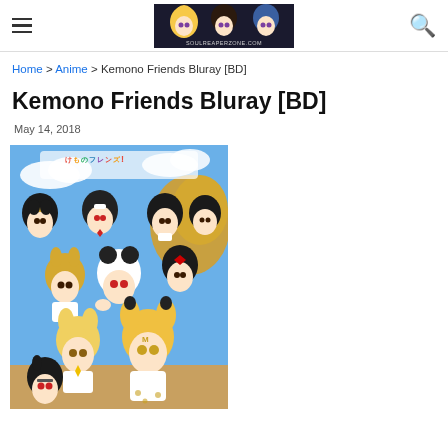soulreaperzone.com
Home > Anime > Kemono Friends Bluray [BD]
Kemono Friends Bluray [BD]
May 14, 2018
[Figure (illustration): Kemono Friends anime cover art showing multiple animal-girl characters in a group pose against a blue sky background, with colorful Japanese title text at top]